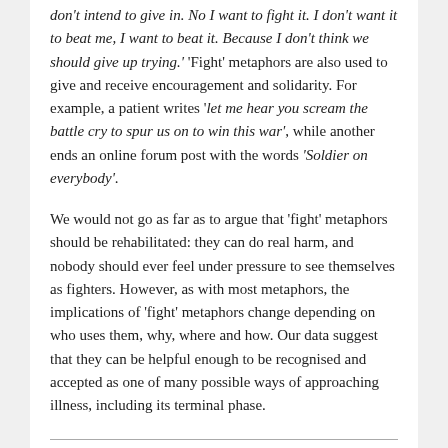don't intend to give in. No I want to fight it. I don't want it to beat me, I want to beat it. Because I don't think we should give up trying.' 'Fight' metaphors are also used to give and receive encouragement and solidarity. For example, a patient writes 'let me hear you scream the battle cry to spur us on to win this war', while another ends an online forum post with the words 'Soldier on everybody'.
We would not go as far as to argue that 'fight' metaphors should be rehabilitated: they can do real harm, and nobody should ever feel under pressure to see themselves as fighters. However, as with most metaphors, the implications of 'fight' metaphors change depending on who uses them, why, where and how. Our data suggest that they can be helpful enough to be recognised and accepted as one of many possible ways of approaching illness, including its terminal phase.
The Economic and Social Research Council (ESRC) is the UK's largest organisation for funding research on